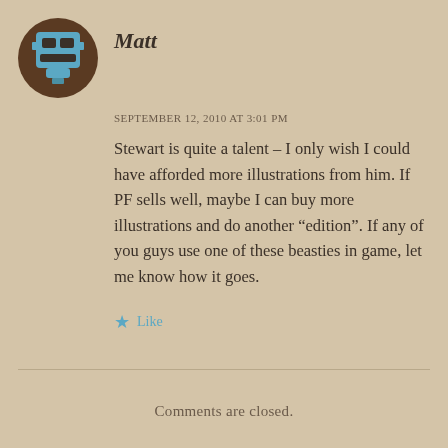[Figure (illustration): Pixel art avatar icon of a gaming controller or robot face in brown and teal/blue colors, circular shape with brown background]
Matt
SEPTEMBER 12, 2010 AT 3:01 PM
Stewart is quite a talent – I only wish I could have afforded more illustrations from him. If PF sells well, maybe I can buy more illustrations and do another “edition”. If any of you guys use one of these beasties in game, let me know how it goes.
Like
Comments are closed.